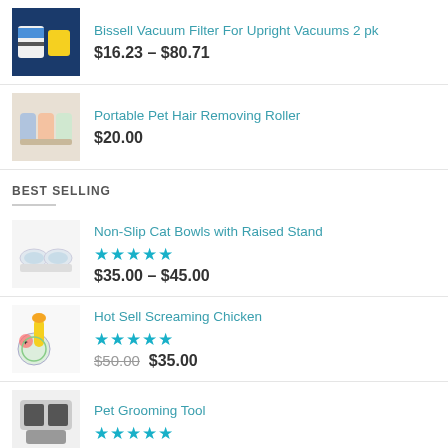[Figure (photo): Bissell vacuum filter product image, blue and yellow filters on dark blue background]
Bissell Vacuum Filter For Upright Vacuums 2 pk
$16.23 – $80.71
[Figure (photo): Portable pet hair removing roller product, pastel colored lint rollers on a tan background]
Portable Pet Hair Removing Roller
$20.00
BEST SELLING
[Figure (photo): Non-slip cat bowls with raised stand, clear glass bowls on a white stand]
Non-Slip Cat Bowls with Raised Stand
★★★★★
$35.00 – $45.00
[Figure (photo): Hot Sell Screaming Chicken toy, yellow rubber chicken with cartoon sticker]
Hot Sell Screaming Chicken
★★★★★
$50.00  $35.00
[Figure (photo): Pet Grooming Tool product image]
Pet Grooming Tool